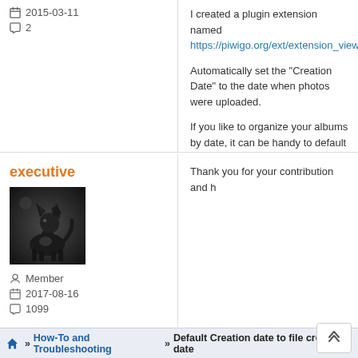2015-03-11
2
I created a plugin extension named... https://piwigo.org/ext/extension_view...
Automatically set the "Creation Date" to the date when photos were uploaded.
If you like to organize your albums by date, it can be handy to default the creation date to the time t...
executive
[Figure (photo): Avatar photo of a howling wolf against dark background]
Member
2017-08-16
1099
Thank you for your contribution and h...
Home » How-To and Troubleshooting » Default Creation date to file created date